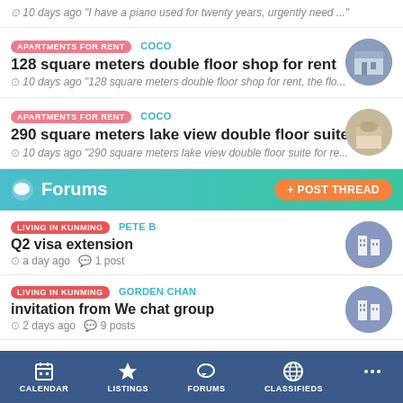10 days ago "I have a piano used for twenty years, urgently need ..."
APARTMENTS FOR RENT | COCO | 128 square meters double floor shop for rent | 10 days ago "128 square meters double floor shop for rent, the flo..."
APARTMENTS FOR RENT | COCO | 290 square meters lake view double floor suite | 10 days ago "290 square meters lake view double floor suite for re..."
Forums
LIVING IN KUNMING | PETE B | Q2 visa extension | a day ago | 1 post
LIVING IN KUNMING | GORDEN CHAN | invitation from We chat group | 2 days ago | 9 posts
FOOD & DRINK | LEMON LOVER | What is the English name for this vegetable?
CALENDAR | LISTINGS | FORUMS | CLASSIFIEDS | ...